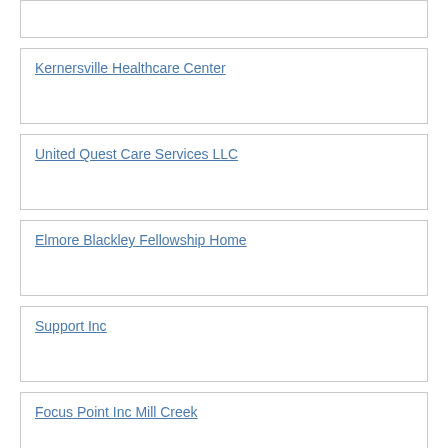Kernersville Healthcare Center
United Quest Care Services LLC
Elmore Blackley Fellowship Home
Support Inc
Focus Point Inc Mill Creek